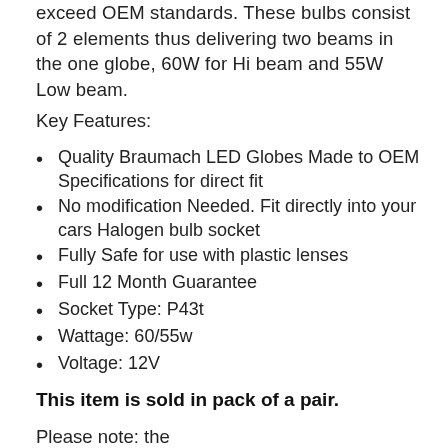exceed OEM standards. These bulbs consist of 2 elements thus delivering two beams in the one globe, 60W for Hi beam and 55W Low beam.
Key Features:
Quality Braumach LED Globes Made to OEM Specifications for direct fit
No modification Needed. Fit directly into your cars Halogen bulb socket
Fully Safe for use with plastic lenses
Full 12 Month Guarantee
Socket Type: P43t
Wattage: 60/55w
Voltage: 12V
This item is sold in pack of a pair.
Please note: the page continues below